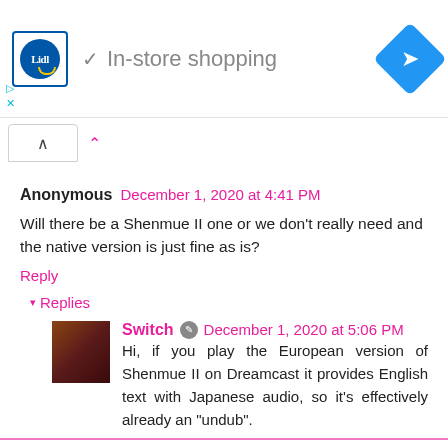[Figure (screenshot): Lidl store ad banner showing Lidl logo, checkmark with 'In-store shopping' text, and a blue navigation diamond arrow icon]
Anonymous December 1, 2020 at 4:41 PM
Will there be a Shenmue II one or we don't really need and the native version is just fine as is?
Reply
▾ Replies
Switch December 1, 2020 at 5:06 PM
Hi, if you play the European version of Shenmue II on Dreamcast it provides English text with Japanese audio, so it's effectively already an "undub".